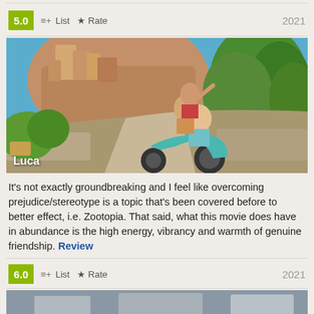5.0  ≡+ List  ★ Rate  2021
[Figure (photo): Animated scene from the Pixar movie 'Luca' showing three animated characters riding a teal Vespa scooter on a cobblestone street in an Italian coastal village with buildings and lush greenery in the background. Title 'Luca' in white text overlaid at bottom-left.]
It's not exactly groundbreaking and I feel like overcoming prejudice/stereotype is a topic that's been covered before to better effect, i.e. Zootopia. That said, what this movie does have in abundance is the high energy, vibrancy and warmth of genuine friendship. Review
6.0  ≡+ List  ★ Rate  2021
[Figure (photo): Partial view of another movie's image strip at the bottom of the page, appears dark/grey colored, mostly cropped off.]